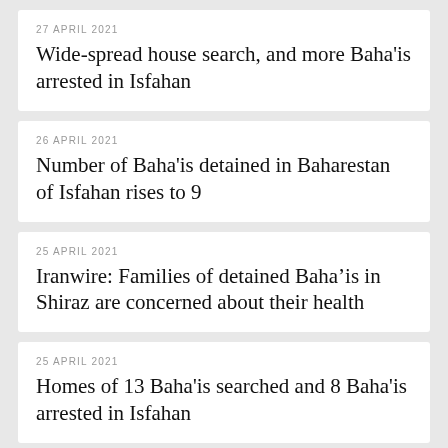27 APRIL 2021
Wide-spread house search, and more Baha'is arrested in Isfahan
26 APRIL 2021
Number of Baha'is detained in Baharestan of Isfahan rises to 9
25 APRIL 2021
Iranwire: Families of detained Baha’is in Shiraz are concerned about their health
25 APRIL 2021
Homes of 13 Baha'is searched and 8 Baha'is arrested in Isfahan
19 APRIL 2021